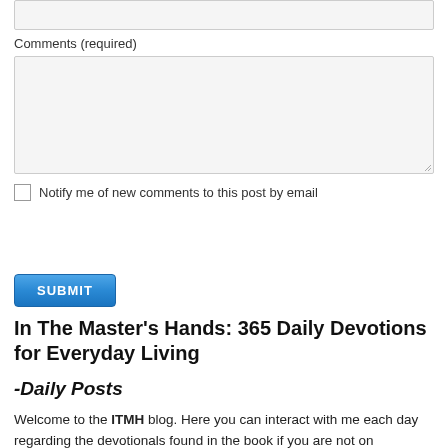[input field]
Comments (required)
[textarea field]
Notify me of new comments to this post by email
SUBMIT
In The Master's Hands: 365 Daily Devotions for Everyday Living
-Daily Posts
Welcome to the ITMH blog. Here you can interact with me each day regarding the devotionals found in the book if you are not on Facebook. Write something about yourself in relation to the daily. No